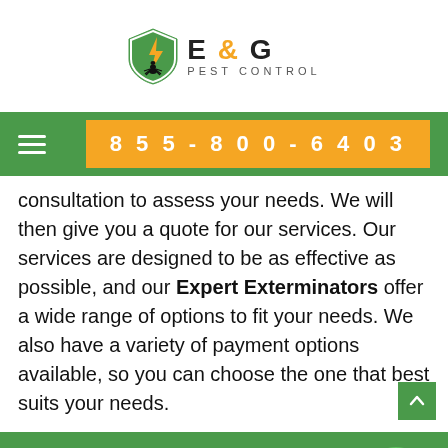[Figure (logo): E & G Pest Control logo with shield icon containing a lightning bolt and ant, with orange and black text]
855-800-6403
consultation to assess your needs. We will then give you a quote for our services. Our services are designed to be as effective as possible, and our Expert Exterminators offer a wide range of options to fit your needs. We also have a variety of payment options available, so you can choose the one that best suits your needs.
Call for Quick and Reliable Service
855-800-6403